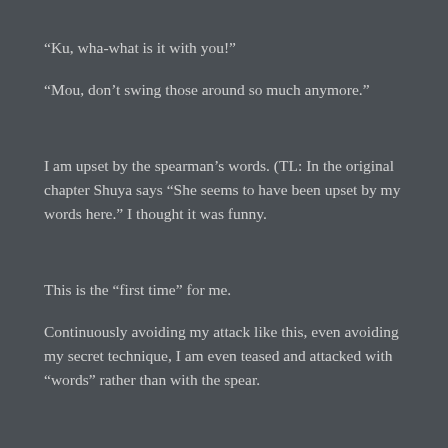“Ku, wha-what is it with you!”
“Mou, don’t swing those around so much anymore.”
I am upset by the spearman’s words. (TL: In the original chapter Shuya says “She seems to have been upset by my words here.” I thought it was funny.
This is the “first time” for me.
Continuously avoiding my attack like this, even avoiding my secret technique, I am even teased and attacked with “words” rather than with the spear.